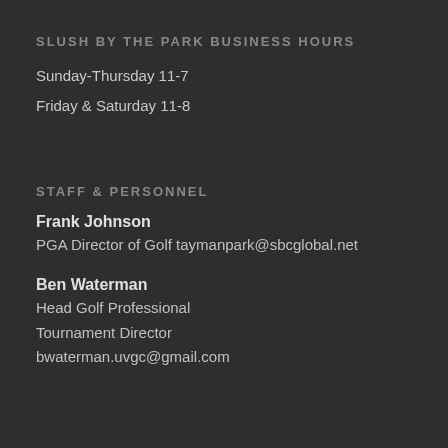SLUSH BY THE PARK BUSINESS HOURS
Sunday-Thursday 11-7
Friday & Saturday 11-8
STAFF & PERSONNEL
Frank Johnson
PGA Director of Golf taymanpark@sbcglobal.net
Ben Waterman
Head Golf Professional
Tournament Director
bwaterman.uvgc@gmail.com